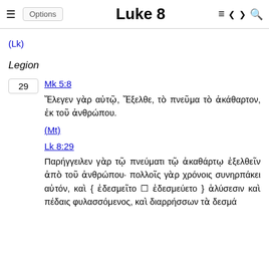Luke 8
(Lk)
Legion
29  Mk 5:8
Ἔλεγεν γὰρ αὐτῷ, Ἔξελθε, τὸ πνεῦμα τὸ ἀκάθαρτον, ἐκ τοῦ ἀνθρώπου.
(Mt)
Lk 8:29
Παρήγγειλεν γὰρ τῷ πνεύματι τῷ ἀκαθάρτῳ ἐξελθεῖν ἀπὸ τοῦ ἀνθρώπου· πολλοῖς γὰρ χρόνοις συνηρπάκει αὐτόν, καὶ { ἐδεσμεῖτο ⬜ ἐδεσμεύετο } ἁλύσεσιν καὶ πέδαις φυλασσόμενος, καὶ διαρρήσσων τὰ δεσμά